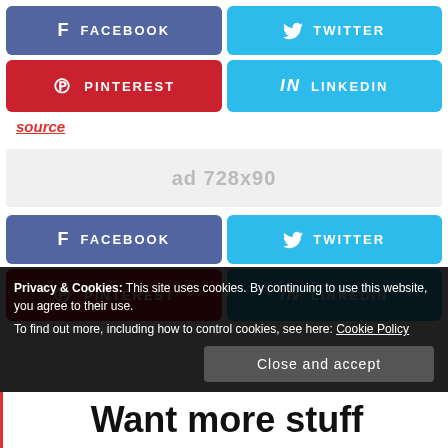[Figure (infographic): Social share buttons grid: Facebook (blue-purple), Twitter (cyan), Pinterest (red), LinkedIn (cyan)]
source
[Figure (infographic): Ad placeholder banner: ad 728x90]
[Figure (infographic): Second social share buttons grid: Facebook, Twitter, Pinterest, LinkedIn]
Privacy & Cookies: This site uses cookies. By continuing to use this website, you agree to their use.
To find out more, including how to control cookies, see here: Cookie Policy
Close and accept
Want more stuff